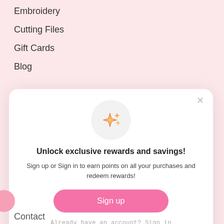Embroidery
Cutting Files
Gift Cards
Blog
[Figure (illustration): Popup modal card with sparkle stars icon in a grey circle]
Unlock exclusive rewards and savings!
Sign up or Sign in to earn points on all your purchases and redeem rewards!
Sign up
Already have an account? Sign in
Contact